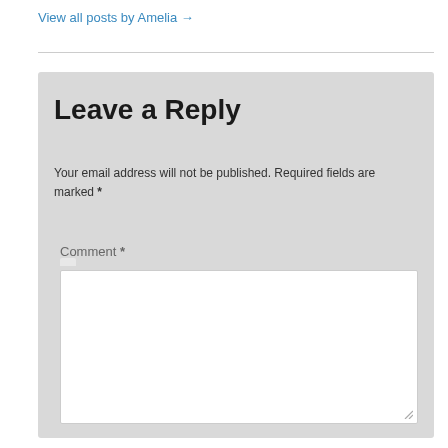View all posts by Amelia →
Leave a Reply
Your email address will not be published. Required fields are marked *
Comment *